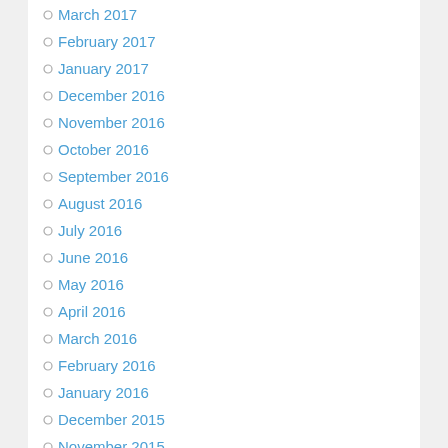March 2017
February 2017
January 2017
December 2016
November 2016
October 2016
September 2016
August 2016
July 2016
June 2016
May 2016
April 2016
March 2016
February 2016
January 2016
December 2015
November 2015
October 2015
September 2015
August 2015